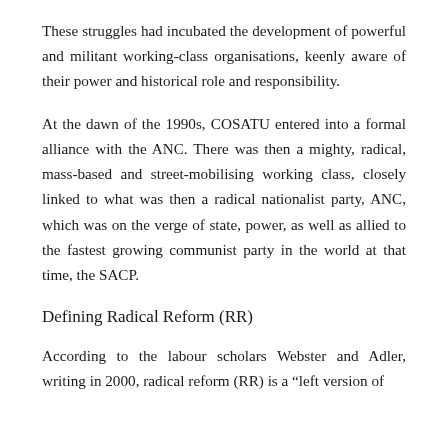These struggles had incubated the development of powerful and militant working-class organisations, keenly aware of their power and historical role and responsibility.
At the dawn of the 1990s, COSATU entered into a formal alliance with the ANC. There was then a mighty, radical, mass-based and street-mobilising working class, closely linked to what was then a radical nationalist party, ANC, which was on the verge of state, power, as well as allied to the fastest growing communist party in the world at that time, the SACP.
Defining Radical Reform (RR)
According to the labour scholars Webster and Adler, writing in 2000, radical reform (RR) is a “left version of